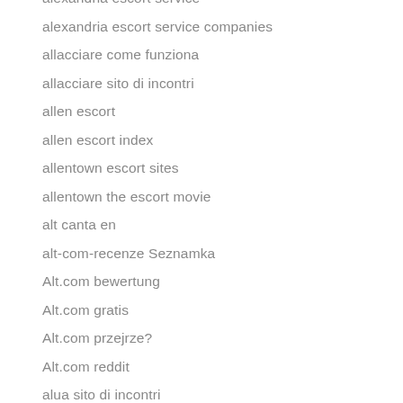alexandria escort service
alexandria escort service companies
allacciare come funziona
allacciare sito di incontri
allen escort
allen escort index
allentown escort sites
allentown the escort movie
alt canta en
alt-com-recenze Seznamka
Alt.com bewertung
Alt.com gratis
Alt.com przejrze?
Alt.com reddit
alua sito di incontri